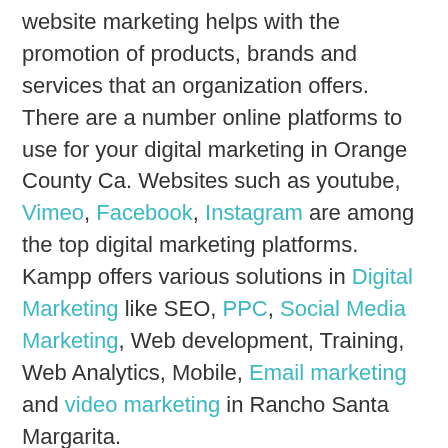website marketing helps with the promotion of products, brands and services that an organization offers. There are a number online platforms to use for your digital marketing in Orange County Ca. Websites such as youtube, Vimeo, Facebook, Instagram are among the top digital marketing platforms. Kampp offers various solutions in Digital Marketing like SEO, PPC, Social Media Marketing, Web development, Training, Web Analytics, Mobile, Email marketing and video marketing in Rancho Santa Margarita.
Website marketing does not have to cost a lot of money. With the use of proper content writing, search engine optimization and quality back-links creation you can market your website for an affordable fee. Kampp has been designing and marketing websites since 2000. Our strategy is to to do everything in house. We not only can design you